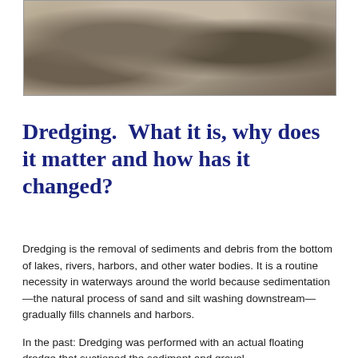[Figure (photo): Historical sepia-toned aerial or landscape photograph showing a water body, likely a river or harbor, with terrain features and dark vegetated areas visible.]
Dredging.  What it is, why does it matter and how has it changed?
Dredging is the removal of sediments and debris from the bottom of lakes, rivers, harbors, and other water bodies. It is a routine necessity in waterways around the world because sedimentation—the natural process of sand and silt washing downstream—gradually fills channels and harbors.
In the past: Dredging was performed with an actual floating dredge that suctioned the sediment and gravel